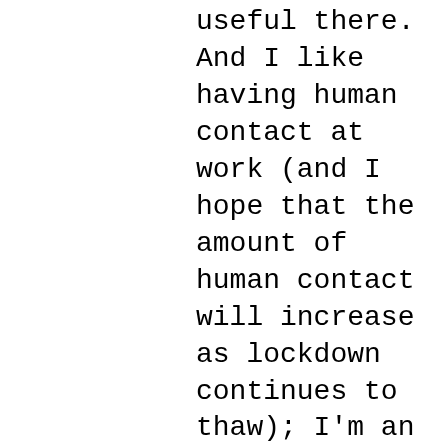useful there. And I like having human contact at work (and I hope that the amount of human contact will increase as lockdown continues to thaw); I'm an introvert, but even so, staying at home all day got to be a bit much after the first year or so. And I actually even like my commute, because it gets me walking and out in the world more than I otherwise would, and riding the train noticeably increases the number of books I'm finishing.